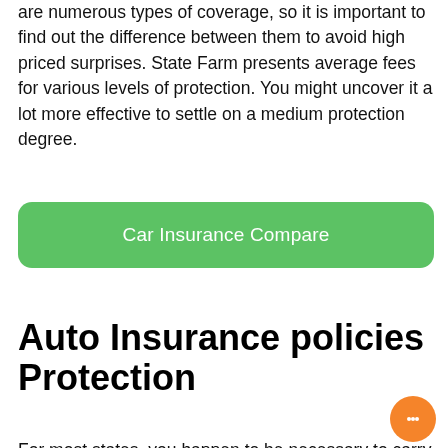are numerous types of coverage, so it is important to find out the difference between them to avoid high priced surprises. State Farm presents average fees for various levels of protection. You might uncover it a lot more effective to settle on a medium protection degree.
[Figure (other): Green rounded button labeled 'Car Insurance Compare']
Auto Insurance policies Protection
For most states, you happen to be necessary to carry liability protection in your coverage, which addresses damages to other people's assets and accidents to Other individuals. This sort of protection also guards you in the event you induce a mishap with A further driver. This coverage would